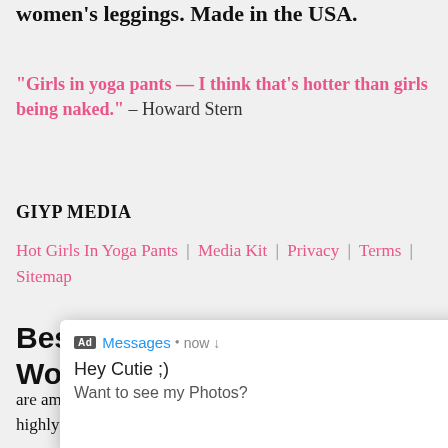women's leggings. Made in the USA.
"Girls in yoga pants — I think that's hotter than girls being naked." – Howard Stern
GIYP MEDIA
Hot Girls In Yoga Pants | Media Kit | Privacy | Terms | Sitemap
Best Yoga Pants in the Workout Pants World
[Figure (screenshot): Ad overlay notification showing 'Ad Messages • now' with text 'Hey Cutie ;) Want to see my Photos?' and a thumbnail image, with an X close button]
are among the points that make these pants trendy and highly acceptable in today's fashion world: